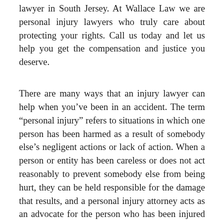lawyer in South Jersey. At Wallace Law we are personal injury lawyers who truly care about protecting your rights. Call us today and let us help you get the compensation and justice you deserve.
There are many ways that an injury lawyer can help when you’ve been in an accident. The term “personal injury” refers to situations in which one person has been harmed as a result of somebody else’s negligent actions or lack of action. When a person or entity has been careless or does not act reasonably to prevent somebody else from being hurt, they can be held responsible for the damage that results, and a personal injury attorney acts as an advocate for the person who has been injured to make sure that their rights are represented. There are a couple of ways in which these situations can be resolved. Though lawsuit can be filed with the goal of